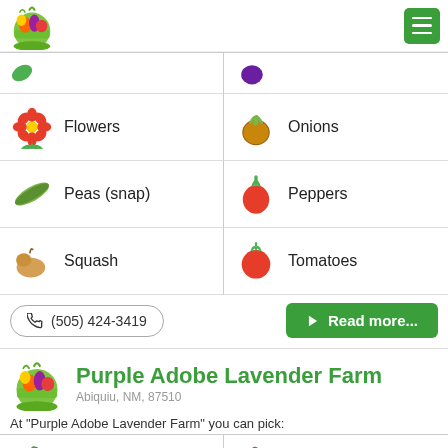Farm produce directory page with logo and menu button
Flowers
Onions
Peas (snap)
Peppers
Squash
Tomatoes
(505) 424-3419
Read more...
Purple Adobe Lavender Farm
Abiquiu, NM, 87510
At "Purple Adobe Lavender Farm" you can pick:
Apples
Flowers